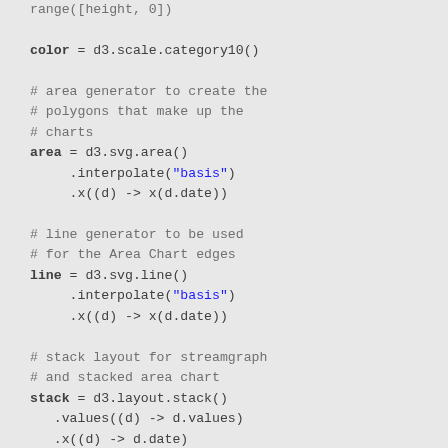range([height, 0])

color = d3.scale.category10()

# area generator to create the
# polygons that make up the
# charts
area = d3.svg.area()
    .interpolate("basis")
    .x((d) -> x(d.date))

# line generator to be used
# for the Area Chart edges
line = d3.svg.line()
    .interpolate("basis")
    .x((d) -> x(d.date))

# stack layout for streamgraph
# and stacked area chart
stack = d3.layout.stack()
  .values((d) -> d.values)
  .x((d) -> d.date)
  .y((d) -> d.count)
  .out((d,y0,y) -> d.count0 = y0)